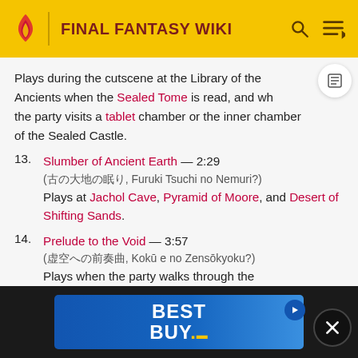FINAL FANTASY WIKI
Plays during the cutscene at the Library of the Ancients when the Sealed Tome is read, and when the party visits a tablet chamber or the inner chamber of the Sealed Castle.
13. Slumber of Ancient Earth — 2:29 (古の大地の眠り, Furuki Tsuchi no Nemuri?) Plays at Jachol Cave, Pyramid of Moore, and Desert of Shifting Sands.
14. Prelude to the Void — 3:57 (虚空への前奏曲, Kokū e no Zensōkyoku?) Plays when the party walks through the Interdimensional Rift.
15. In S... (光を求めて, Hikari o Motomete?)
[Figure (screenshot): Best Buy advertisement banner overlay at the bottom of the page with a close button]